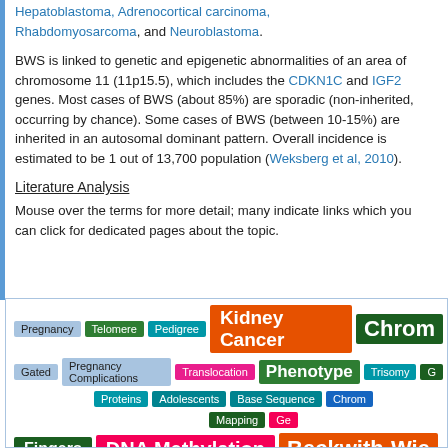Hepatoblastoma, Adrenocortical carcinoma, Rhabdomyosarcoma, and Neuroblastoma.
BWS is linked to genetic and epigenetic abnormalities of an area of chromosome 11 (11p15.5), which includes the CDKN1C and IGF2 genes. Most cases of BWS (about 85%) are sporadic (non-inherited, occurring by chance). Some cases of BWS (between 10-15%) are inherited in an autosomal dominant pattern. Overall incidence is estimated to be 1 out of 13,700 population (Weksberg et al, 2010).
Literature Analysis
Mouse over the terms for more detail; many indicate links which you can click for dedicated pages about the topic.
[Figure (infographic): Tag cloud / keyword bubble visualization with colored labels of varying sizes representing medical/genetic terms including: Pregnancy, Telomere, Pedigree, Kidney Cancer, Chrom[osome], Gated, Pregnancy Complications, Translocation, Phenotype, Trisomy, G[ene?], Proteins, Adolescents, Base Sequence, Chrom[osome], Mapping, Ge[ne?], Fingers, DNA Methylation, Beckwith-Wie[demann]]